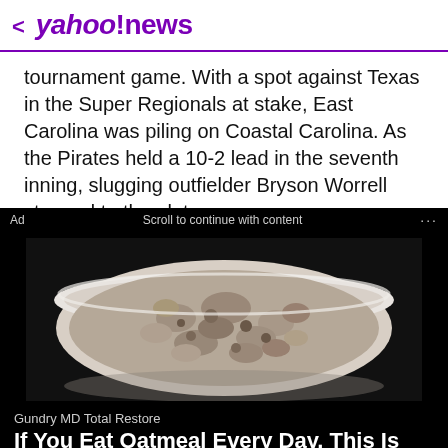< yahoo!news
tournament game. With a spot against Texas in the Super Regionals at stake, East Carolina was piling on Coastal Carolina. As the Pirates held a 10-2 lead in the seventh inning, slugging outfielder Bryson Worrell stepped to the plate.
Ad   Scroll to continue with content   ...
[Figure (photo): Overhead view of a white bowl filled with oatmeal, on a dark background]
Gundry MD Total Restore
If You Eat Oatmeal Every Day, This Is What